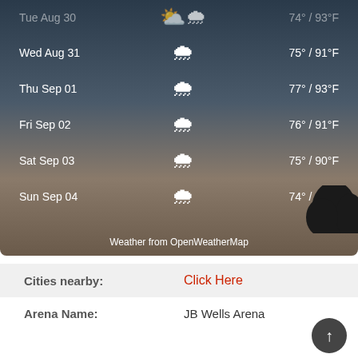[Figure (screenshot): Weather forecast widget showing a stormy sky background with daily weather rows for Wed Aug 31 through Sun Sep 04, each with a cloud/rain/sun icon and temperature range. Credit: Weather from OpenWeatherMap]
Wed Aug 31   🌦   75° / 91°F
Thu Sep 01   🌦   77° / 93°F
Fri Sep 02   🌦   76° / 91°F
Sat Sep 03   🌦   75° / 90°F
Sun Sep 04   🌦   74° / 90°F
Weather from OpenWeatherMap
| Label | Value |
| --- | --- |
| Cities nearby: | Click Here |
| Arena Name: | JB Wells Arena |